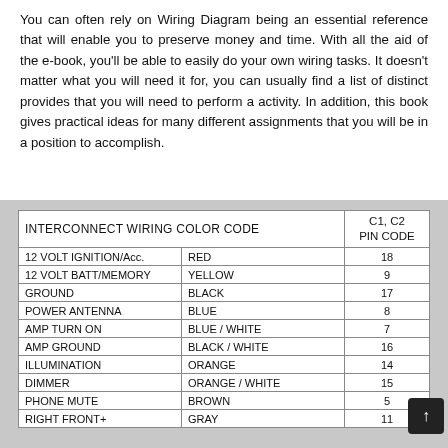You can often rely on Wiring Diagram being an essential reference that will enable you to preserve money and time. With all the aid of the e-book, you'll be able to easily do your own wiring tasks. It doesn't matter what you will need it for, you can usually find a list of distinct provides that you will need to perform a activity. In addition, this book gives practical ideas for many different assignments that you will be in a position to accomplish.
| INTERCONNECT WIRING COLOR CODE |  | C1, C2 PIN CODE |
| --- | --- | --- |
| 12 VOLT IGNITION/Acc. | RED | 18 |
| 12 VOLT BATT/MEMORY | YELLOW | 9 |
| GROUND | BLACK | 17 |
| POWER ANTENNA | BLUE | 8 |
| AMP TURN ON | BLUE / WHITE | 7 |
| AMP GROUND | BLACK / WHITE | 16 |
| ILLUMINATION | ORANGE | 14 |
| DIMMER | ORANGE / WHITE | 15 |
| PHONE MUTE | BROWN | 5 |
| RIGHT FRONT+ | GRAY | 11 |